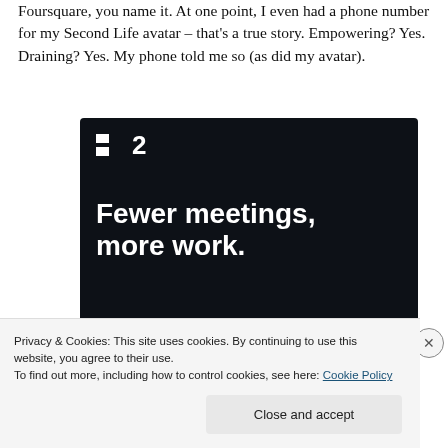Foursquare, you name it. At one point, I even had a phone number for my Second Life avatar – that's a true story. Empowering? Yes. Draining? Yes. My phone told me so (as did my avatar).
[Figure (other): Advertisement for a project management tool. Dark background with white logo showing two squares and the number 2. Text reads: Fewer meetings, more work. Button: Get started for free.]
Privacy & Cookies: This site uses cookies. By continuing to use this website, you agree to their use.
To find out more, including how to control cookies, see here: Cookie Policy
Close and accept